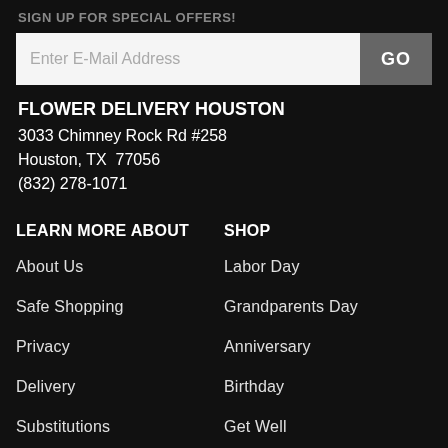SIGN UP FOR SPECIAL OFFERS!
[Figure (other): Email signup form with input field and GO button]
FLOWER DELIVERY HOUSTON
3033 Chimney Rock Rd #258
Houston, TX  77056
(832) 278-1071
LEARN MORE ABOUT
SHOP
About Us
Labor Day
Safe Shopping
Grandparents Day
Privacy
Anniversary
Delivery
Birthday
Substitutions
Get Well